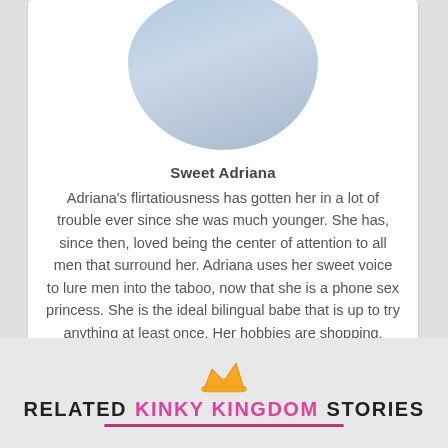[Figure (photo): Circular cropped photo of Sweet Adriana, a woman in a light blue outfit with dark curly hair]
Sweet Adriana
Adriana's flirtatiousness has gotten her in a lot of trouble ever since she was much younger. She has, since then, loved being the center of attention to all men that surround her. Adriana uses her sweet voice to lure men into the taboo, now that she is a phone sex princess. She is the ideal bilingual babe that is up to try anything at least once. Her hobbies are shopping, gaming, and teasing older men. Sweet Adriana Call and talk to me live 1-866-324-5498
RELATED KINKY KINGDOM STORIES